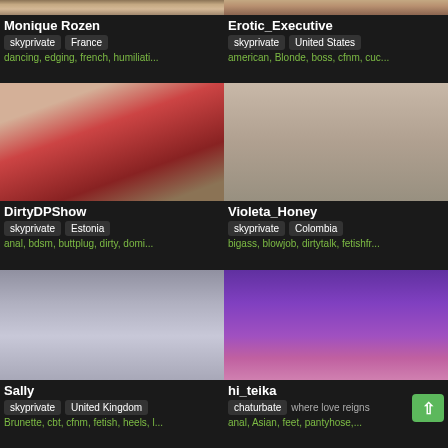[Figure (screenshot): Top partial row of two profile thumbnails cropped at top]
Monique Rozen
skyprivate  France
dancing, edging, french, humiliati...
Erotic_Executive
skyprivate  United States
american, Blonde, boss, cfnm, cuc...
[Figure (photo): DirtyDPShow profile photo - woman in red lingerie on bed]
DirtyDPShow
skyprivate  Estonia
anal, bdsm, buttplug, dirty, domi...
[Figure (photo): Violeta_Honey profile photo - woman in grey top]
Violeta_Honey
skyprivate  Colombia
bigass, blowjob, dirtytalk, fetishfr...
[Figure (photo): Sally profile photo - woman lying on grey bed]
Sally
skyprivate  United Kingdom
Brunette, cbt, cfnm, fetish, heels, l...
[Figure (photo): hi_teika profile photo - room with neon sign reading LOVE SEX DREAMS mirrored]
hi_teika
chaturbate  where love reigns
anal, Asian, feet, pantyhose,...